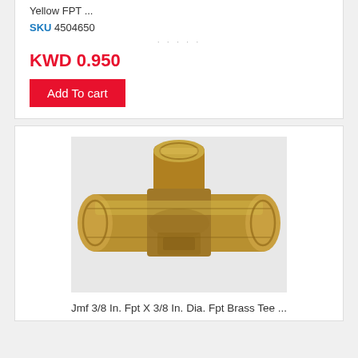Yellow FPT ...
SKU 4504650
KWD 0.950
Add To cart
[Figure (photo): Brass tee fitting - Jmf 3/8 In. Fpt X 3/8 In. Dia. Fpt Brass Tee]
Jmf 3/8 In. Fpt X 3/8 In. Dia. Fpt Brass Tee ...